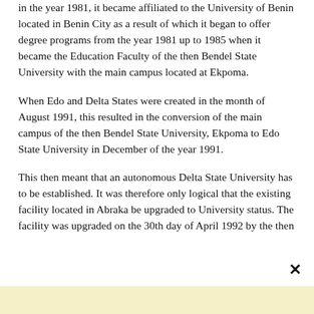in the year 1981, it became affiliated to the University of Benin located in Benin City as a result of which it began to offer degree programs from the year 1981 up to 1985 when it became the Education Faculty of the then Bendel State University with the main campus located at Ekpoma.
When Edo and Delta States were created in the month of August 1991, this resulted in the conversion of the main campus of the then Bendel State University, Ekpoma to Edo State University in December of the year 1991.
This then meant that an autonomous Delta State University has to be established. It was therefore only logical that the existing facility located in Abraka be upgraded to University status. The facility was upgraded on the 30th day of April 1992 by the then